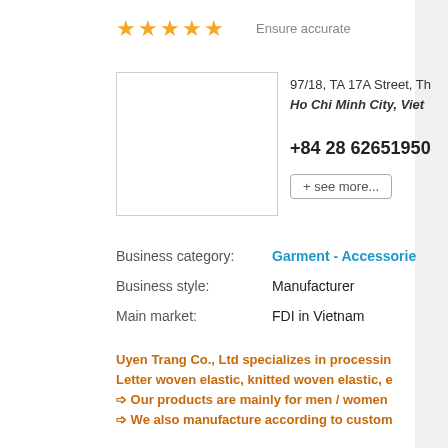[Figure (other): Five gold star rating icons]
Ensure accurate
[Figure (photo): Company logo/image placeholder (white rectangle with border)]
97/18, TA 17A Street, Th
Ho Chi Minh City, Viet
+84 28 62651950
+ see more...
Business category:
Garment - Accessorie
Business style:
Manufacturer
Main market:
FDI in Vietnam
Uyen Trang Co., Ltd specializes in processin
Letter woven elastic, knitted woven elastic, e
➩ Our products are mainly for men / women
➩ We also manufacture according to custom
Send email
www.det
11
Viet Kim San JSC